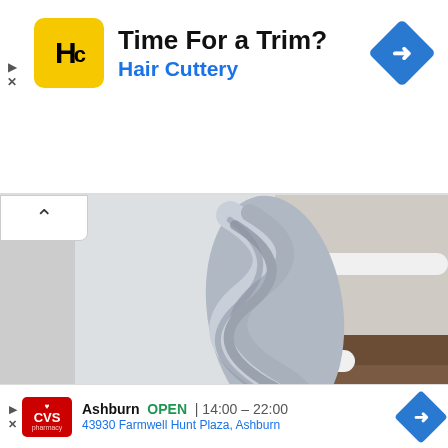[Figure (screenshot): Hair Cuttery advertisement banner with logo, title 'Time For a Trim?', subtitle 'Hair Cuttery', and navigation icon]
[Figure (photo): Photograph of twisted/spiral gray towel or fabric on a wooden floor background]
We use cookies on our website to give you the most relevant experience by remembering your preferences and repeat visits. By clicking “Accept”, you consent to the use of ALL the cookies.
Do not sell my personal information.
Cookie
[Figure (screenshot): CVS Pharmacy bottom ad with store info: Ashburn OPEN 14:00-22:00, 43930 Farmwell Hunt Plaza, Ashburn, with navigation icon]